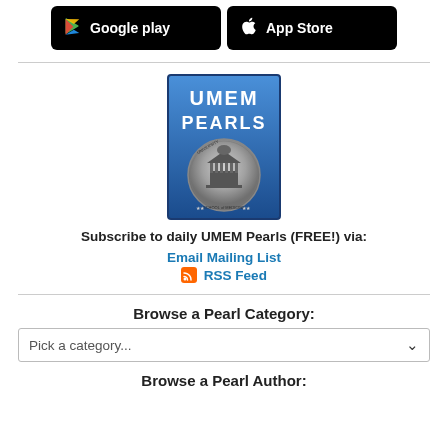[Figure (logo): Google Play and Apple App Store download buttons on black backgrounds]
[Figure (logo): UMEM Pearls logo with University of Maryland School of Medicine seal on blue background]
Subscribe to daily UMEM Pearls (FREE!) via:
Email Mailing List
RSS Feed
Browse a Pearl Category:
Pick a category...
Browse a Pearl Author: